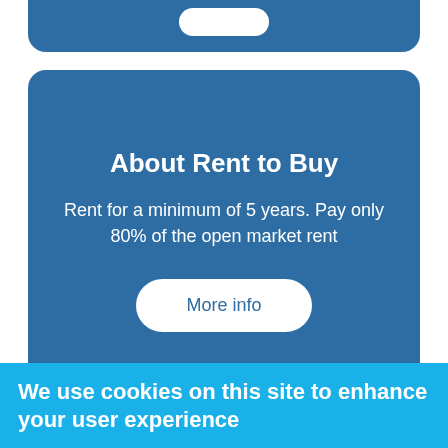[Figure (screenshot): Partially visible card UI element at top with white rounded button shape]
About Rent to Buy
Rent for a minimum of 5 years. Pay only 80% of the open market rent
More info
We use cookies on this site to enhance your user experience